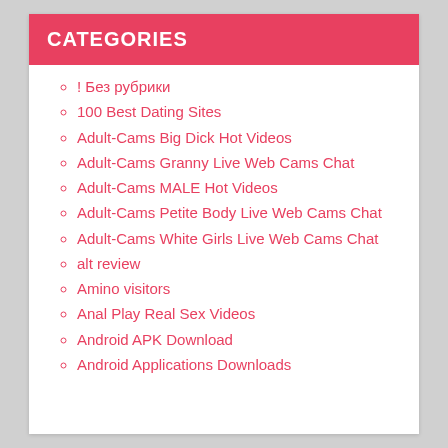CATEGORIES
! Без рубрики
100 Best Dating Sites
Adult-Cams Big Dick Hot Videos
Adult-Cams Granny Live Web Cams Chat
Adult-Cams MALE Hot Videos
Adult-Cams Petite Body Live Web Cams Chat
Adult-Cams White Girls Live Web Cams Chat
alt review
Amino visitors
Anal Play Real Sex Videos
Android APK Download
Android Applications Downloads